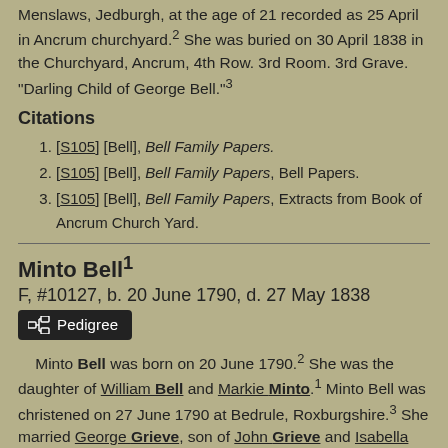Menslaws, Jedburgh, at the age of 21 recorded as 25 April in Ancrum churchyard.2 She was buried on 30 April 1838 in the Churchyard, Ancrum, 4th Row. 3rd Room. 3rd Grave. "Darling Child of George Bell."3
Citations
1. [S105] [Bell], Bell Family Papers.
2. [S105] [Bell], Bell Family Papers, Bell Papers.
3. [S105] [Bell], Bell Family Papers, Extracts from Book of Ancrum Church Yard.
Minto Bell1
F, #10127, b. 20 June 1790, d. 27 May 1838
[Figure (other): Pedigree button]
Minto Bell was born on 20 June 1790.2 She was the daughter of William Bell and Markie Minto.1 Minto Bell was christened on 27 June 1790 at Bedrule, Roxburgshire.3 She married George Grieve, son of John Grieve and Isabella Turnbull, circa 1809.1 Minto Bell and George Grieve emigrated in 1832 to Québec, Canada, with their son William Bell.4 Minto Bell died on 27 May 1838 in Ormstown, Québec, Canada, at the age of 47 (the